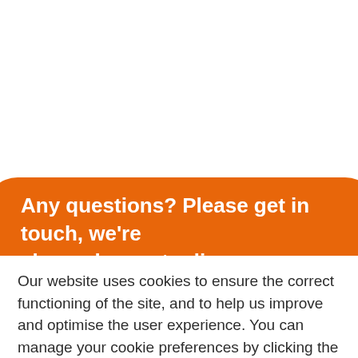Any questions? Please get in touch, we're always happy to discuss your requirements
Our website uses cookies to ensure the correct functioning of the site, and to help us improve and optimise the user experience. You can manage your cookie preferences by clicking the 'Cookie Settings' button.
Cookie Settings
Accept All